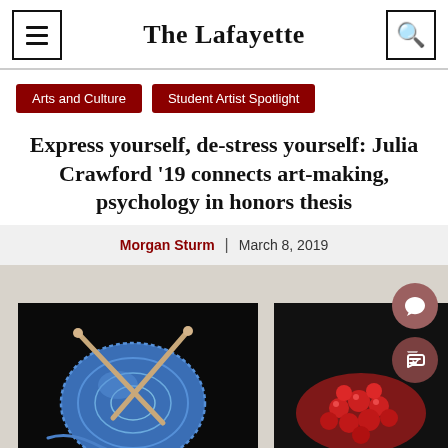The Lafayette
Arts and Culture
Student Artist Spotlight
Express yourself, de-stress yourself: Julia Crawford '19 connects art-making, psychology in honors thesis
Morgan Sturm | March 8, 2019
[Figure (photo): Two paintings displayed side by side: left shows a blue yarn ball with knitting needles on a dark canvas background; right shows red berries or pomegranate seeds on a dark canvas background. Both paintings are placed on a light grey/beige surface.]